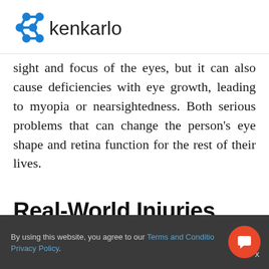kenkarlo
sight and focus of the eyes, but it can also cause deficiencies with eye growth, leading to myopia or nearsightedness. Both serious problems that can change the person’s eye shape and retina function for the rest of their lives.
Real-World Injuries
By using this website, you agree to our Terms and Conditions and Privacy Policy.